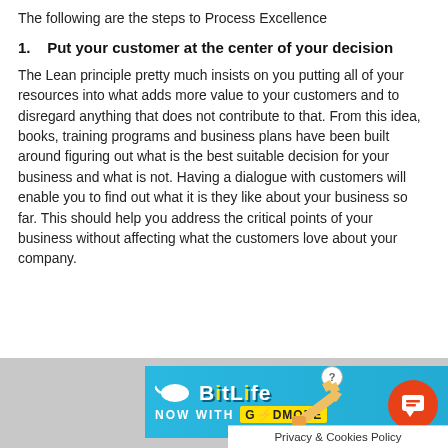The following are the steps to Process Excellence
1.    Put your customer at the center of your decision
The Lean principle pretty much insists on you putting all of your resources into what adds more value to your customers and to disregard anything that does not contribute to that. From this idea, books, training programs and business plans have been built around figuring out what is the best suitable decision for your business and what is not. Having a dialogue with customers will enable you to find out what it is they like about your business so far. This should help you address the critical points of your business without affecting what the customers love about your company.
[Figure (other): BitLife advertisement banner with logo, 'NOW WITH GODMODE' text, hand graphic, question mark circle, and orange chat button]
Privacy & Cookies Policy